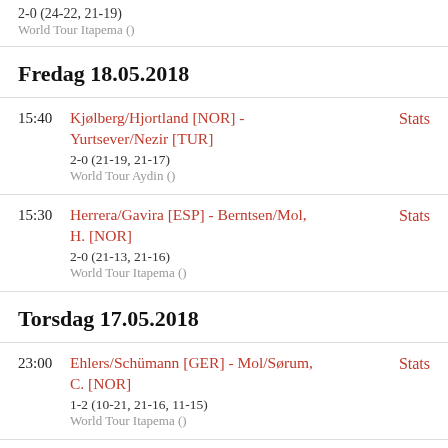2-0 (24-22, 21-19)
World Tour Itapema ()
Fredag 18.05.2018
15:40 | Kjølberg/Hjortland [NOR] - Yurtsever/Nezir [TUR] | 2-0 (21-19, 21-17) | World Tour Aydin () | Stats
15:30 | Herrera/Gavira [ESP] - Berntsen/Mol, H. [NOR] | 2-0 (21-13, 21-16) | World Tour Itapema () | Stats
Torsdag 17.05.2018
23:00 | Ehlers/Schümann [GER] - Mol/Sørum, C. [NOR] | 1-2 (10-21, 21-16, 11-15) | World Tour Itapema () | Stats
18:00 | Mol/Sørum, C. [NOR] - Kujawiak/Rudol [POL] | 2-1 (14-21, 22-20, 15-9) | World Tour Itapema () | Stats
Varenhorst/Bouter [NED] - ...